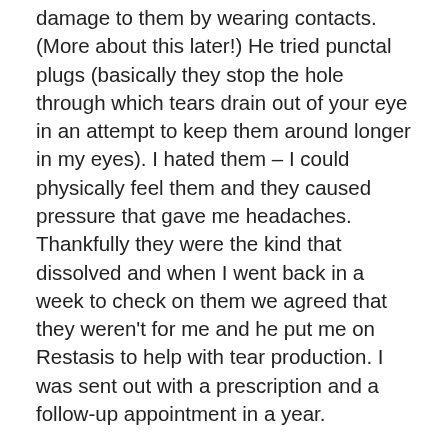damage to them by wearing contacts.  (More about this later!)  He tried punctal plugs (basically they stop the hole through which tears drain out of your eye in an attempt to keep them around longer in my eyes).  I hated them – I could physically feel them and they caused pressure that gave me headaches.  Thankfully they were the kind that dissolved and when I went back in a week to check on them we agreed that they weren't for me and he put me on Restasis to help with tear production.  I was sent out with a prescription and a follow-up appointment in a year.
In the meantime, Dr. B had put me back on the medication that I had taken second during my first two years post-diagnosis.  I had been on it for 4 months that time and it hadn't worked for me.  He said I needed to be on it longer – like six months – so I went back on it. Along with a…